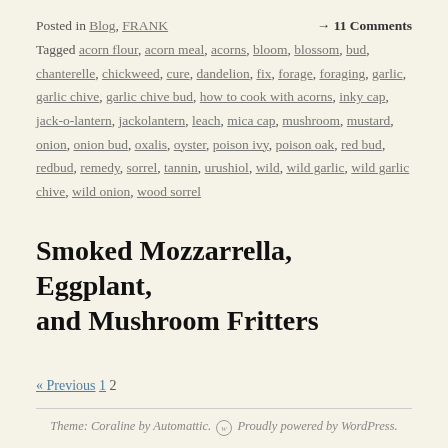Posted in Blog, FRANK → 11 Comments
Tagged acorn flour, acorn meal, acorns, bloom, blossom, bud, chanterelle, chickweed, cure, dandelion, fix, forage, foraging, garlic, garlic chive, garlic chive bud, how to cook with acorns, inky cap, jack-o-lantern, jackolantern, leach, mica cap, mushroom, mustard, onion, onion bud, oxalis, oyster, poison ivy, poison oak, red bud, redbud, remedy, sorrel, tannin, urushiol, wild, wild garlic, wild garlic chive, wild onion, wood sorrel
Smoked Mozzarrella, Eggplant, and Mushroom Fritters
« Previous 1 2
Theme: Coraline by Automattic. Proudly powered by WordPress.